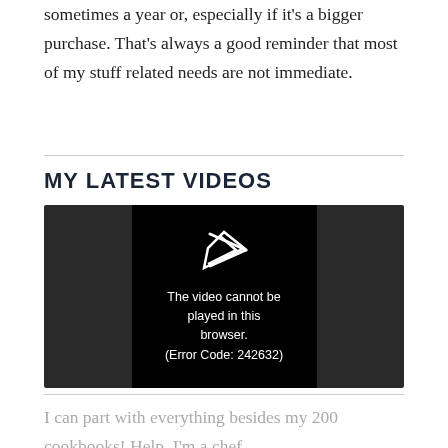sometimes a year or, especially if it's a bigger purchase. That's always a good reminder that most of my stuff related needs are not immediate.
MY LATEST VIDEOS
[Figure (screenshot): Video player showing error message: 'The video cannot be played in this browser. (Error Code: 242632)' with a play icon above.]
I can part with everything besides my 200 cookbooks! Help. I'm a chef.